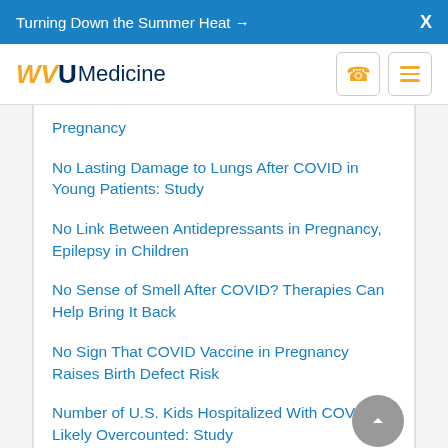Turning Down the Summer Heat →  X
WVU Medicine
Pregnancy
No Lasting Damage to Lungs After COVID in Young Patients: Study
No Link Between Antidepressants in Pregnancy, Epilepsy in Children
No Sense of Smell After COVID? Therapies Can Help Bring It Back
No Sign That COVID Vaccine in Pregnancy Raises Birth Defect Risk
Number of U.S. Kids Hospitalized With COVID Is Likely Overcounted: Study
NYC's Overdose Prevention Centers Already Saving Lives
Obesity in Youth Could Be Big Risk Factor for MS